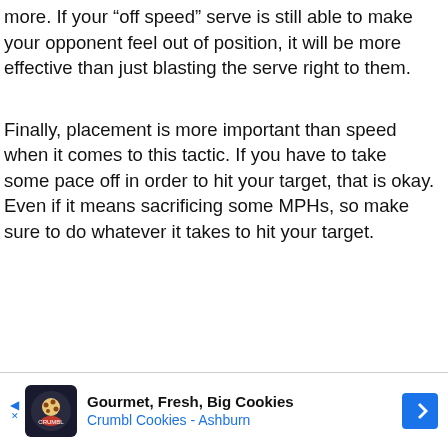more. If your “off speed” serve is still able to make your opponent feel out of position, it will be more effective than just blasting the serve right to them.
Finally, placement is more important than speed when it comes to this tactic. If you have to take some pace off in order to hit your target, that is okay. Even if it means sacrificing some MPHs, so make sure to do whatever it takes to hit your target.
[Figure (infographic): Advertisement banner for Crumbl Cookies - Ashburn. Shows cookie logo image, text 'Gourmet, Fresh, Big Cookies' and 'Crumbl Cookies - Ashburn', with a blue navigation arrow icon on the right.]